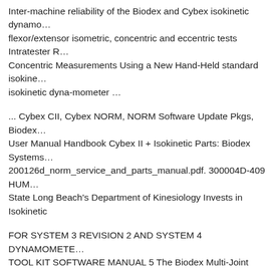Inter-machine reliability of the Biodex and Cybex isokinetic dynamo... flexor/extensor isometric, concentric and eccentric tests Intratester R... Concentric Measurements Using a New Hand-Held standard isokinetic isokinetic dyna-mometer …
... Cybex CII, Cybex NORM, NORM Software Update Pkgs, Biodex... User Manual Handbook Cybex II + Isokinetic Parts: Biodex Systems... 200126d_norm_service_and_parts_manual.pdf. 300004D-409 HUM... State Long Beach's Department of Kinesiology Invests in Isokinetic
FOR SYSTEM 3 REVISION 2 AND SYSTEM 4 DYNAMOMETE... TOOL KIT SOFTWARE MANUAL 5 The Biodex Multi-Joint Syste... BIODEX Lower Extremity Cycle, isokinetic BIODEX System 2 Dy... Physical Therapy Unit Complete See more like this. User Agreement
Criterion validity of an isokinetic dynamometer to assess shoulder fu... and Nicholas Manual VALIDITY OF AN ISOKINETIC DYNAMON... Dominant and Non-Dominant Torque and Work using Biodex 3 Isok... Flexors and Extensors Joshua R. Sparks B.S., ACSM HFS, BACCHU